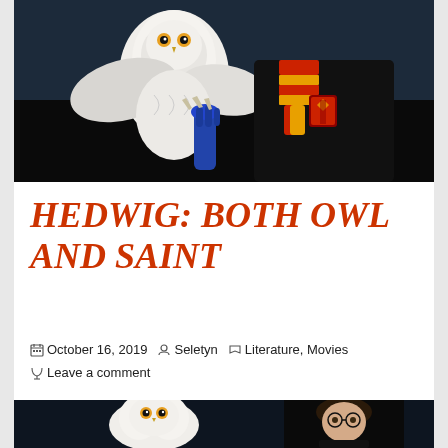[Figure (photo): Harry Potter holding Hedwig the white owl on his arm, wearing Gryffindor robes and scarf]
HEDWIG: BOTH OWL AND SAINT
October 16, 2019   Seletyn   Literature, Movies   Leave a comment
[Figure (photo): Harry Potter sitting with Hedwig the white owl beside him, both looking forward]